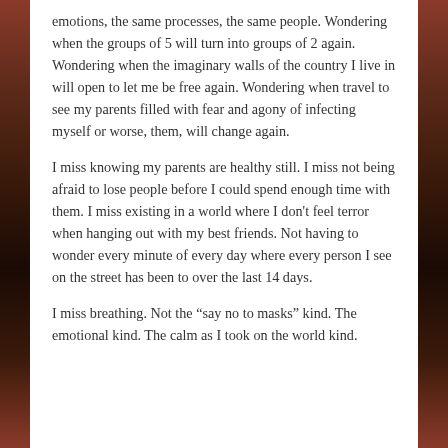emotions, the same processes, the same people. Wondering when the groups of 5 will turn into groups of 2 again. Wondering when the imaginary walls of the country I live in will open to let me be free again. Wondering when travel to see my parents filled with fear and agony of infecting myself or worse, them, will change again.
I miss knowing my parents are healthy still. I miss not being afraid to lose people before I could spend enough time with them. I miss existing in a world where I don't feel terror when hanging out with my best friends. Not having to wonder every minute of every day where every person I see on the street has been to over the last 14 days.
I miss breathing. Not the “say no to masks” kind. The emotional kind. The calm as I took on the world kind.